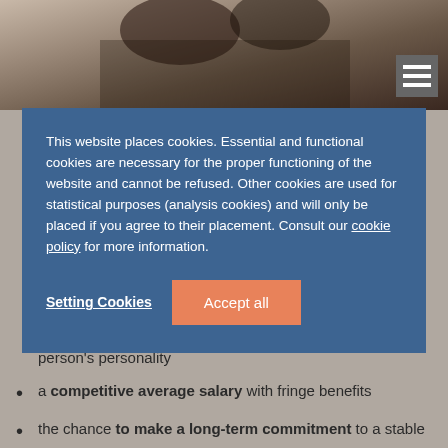[Figure (photo): Background photo of people, partially visible at top of page with hamburger menu icon overlay]
This website places cookies. Essential and functional cookies are necessary for the proper functioning of the website and cannot be refused. Other cookies are used for statistical purposes (analysis cookies) and will only be placed if you agree to their placement. Consult our cookie policy for more information.
Setting Cookies
Accept all
person's personality
a competitive average salary with fringe benefits
the chance to make a long-term commitment to a stable company